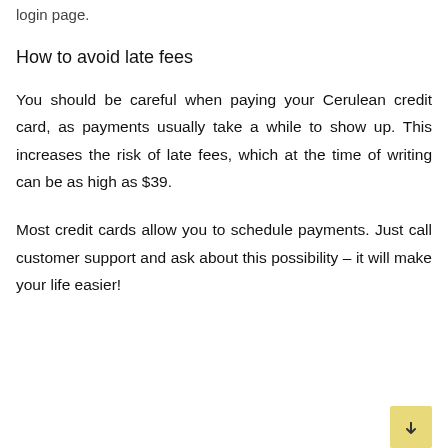login page.
How to avoid late fees
You should be careful when paying your Cerulean credit card, as payments usually take a while to show up. This increases the risk of late fees, which at the time of writing can be as high as $39.
Most credit cards allow you to schedule payments. Just call customer support and ask about this possibility – it will make your life easier!